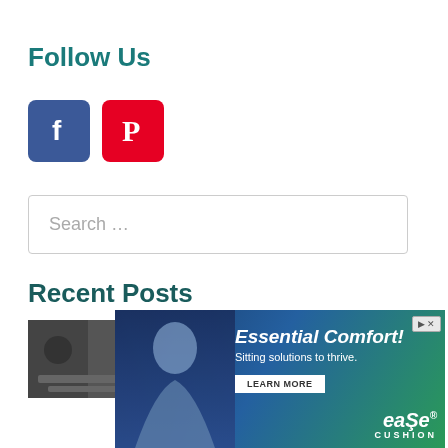Follow Us
[Figure (other): Social media icons: Facebook (blue square with 'f' logo) and Pinterest (red square with 'P' logo)]
Search …
Recent Posts
[Figure (photo): Thumbnail photo of a home gym, dark/grey tones]
40 Upbeat Home Gym Designs (Photo
[Figure (other): Advertisement banner: Essential Comfort! Sitting solutions to thrive. LEARN MORE. ease CUSHION logo. Woman in blue-tinted image on left side.]